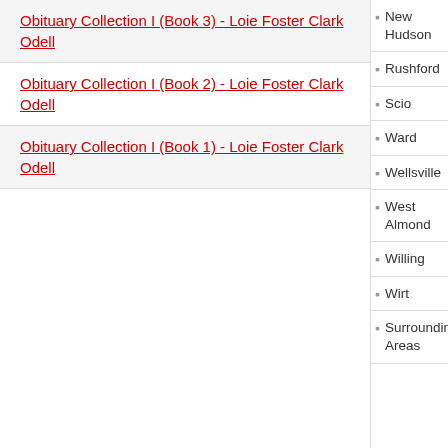Obituary Collection I (Book 3) - Loie Foster Clark Odell
Obituary Collection I (Book 2) - Loie Foster Clark Odell
Obituary Collection I (Book 1) - Loie Foster Clark Odell
New Hudson
Rushford
Scio
Ward
Wellsville
West Almond
Willing
Wirt
Surrounding Areas